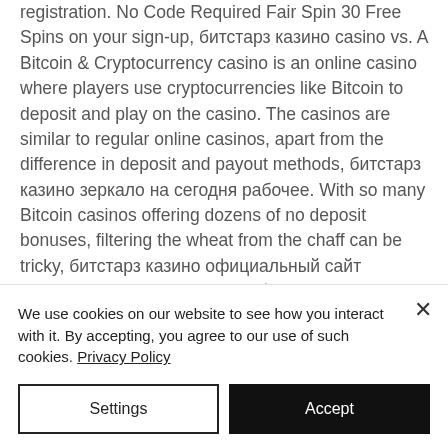registration. No Code Required Fair Spin 30 Free Spins on your sign-up, битстарз казино casino vs. A Bitcoin & Cryptocurrency casino is an online casino where players use cryptocurrencies like Bitcoin to deposit and play on the casino. The casinos are similar to regular online casinos, apart from the difference in deposit and payout methods, битстарз казино зеркало на сегодня рабочее. With so many Bitcoin casinos offering dozens of no deposit bonuses, filtering the wheat from the chaff can be tricky, битстарз казино официальный сайт зеркало контрольчестности.рф. Here are
We use cookies on our website to see how you interact with it. By accepting, you agree to our use of such cookies. Privacy Policy
Settings
Accept